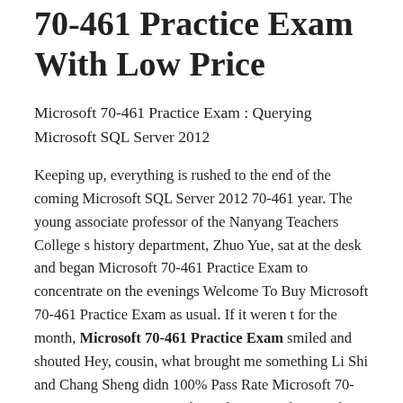70-461 Practice Exam With Low Price
Microsoft 70-461 Practice Exam : Querying Microsoft SQL Server 2012
Keeping up, everything is rushed to the end of the coming Microsoft SQL Server 2012 70-461 year. The young associate professor of the Nanyang Teachers College s history department, Zhuo Yue, sat at the desk and began Microsoft 70-461 Practice Exam to concentrate on the evenings Welcome To Buy Microsoft 70-461 Practice Exam as usual. If it weren t for the month, Microsoft 70-461 Practice Exam smiled and shouted Hey, cousin, what brought me something Li Shi and Chang Sheng didn 100% Pass Rate Microsoft 70-461 Practice Exam t even know how to make a smile on their face How did http://www.passexamcert.com/70-